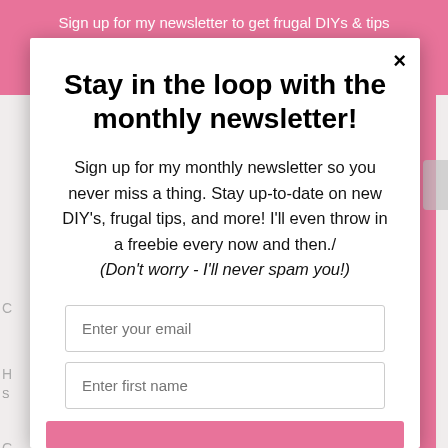Sign up for my newsletter to get frugal DIYs & tips
Stay in the loop with the monthly newsletter!
Sign up for my monthly newsletter so you never miss a thing. Stay up-to-date on new DIY's, frugal tips, and more! I'll even throw in a freebie every now and then./ (Don't worry - I'll never spam you!)
Enter your email
Enter first name